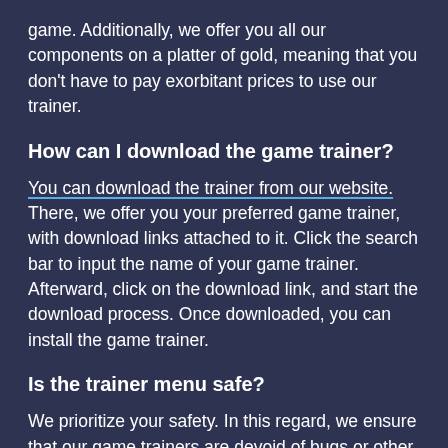game. Additionally, we offer you all our components on a platter of gold, meaning that you don't have to pay exorbitant prices to use our trainer.
How can I download the game trainer?
You can download the trainer from our website. There, we offer you your preferred game trainer, with download links attached to it. Click the search bar to input the name of your game trainer. Afterward, click on the download link, and start the download process. Once downloaded, you can install the game trainer.
Is the trainer menu safe?
We prioritize your safety. In this regard, we ensure that our game trainers are devoid of bugs or other viruses that can harm your system. We have different versions that can work with your system.